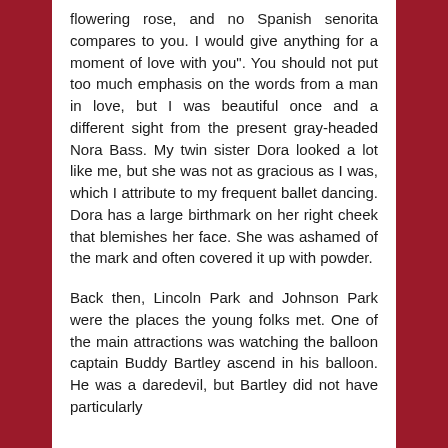flowering rose, and no Spanish senorita compares to you. I would give anything for a moment of love with you". You should not put too much emphasis on the words from a man in love, but I was beautiful once and a different sight from the present gray-headed Nora Bass. My twin sister Dora looked a lot like me, but she was not as gracious as I was, which I attribute to my frequent ballet dancing. Dora has a large birthmark on her right cheek that blemishes her face. She was ashamed of the mark and often covered it up with powder.
Back then, Lincoln Park and Johnson Park were the places the young folks met. One of the main attractions was watching the balloon captain Buddy Bartley ascend in his balloon. He was a daredevil, but Bartley did not have particularly...